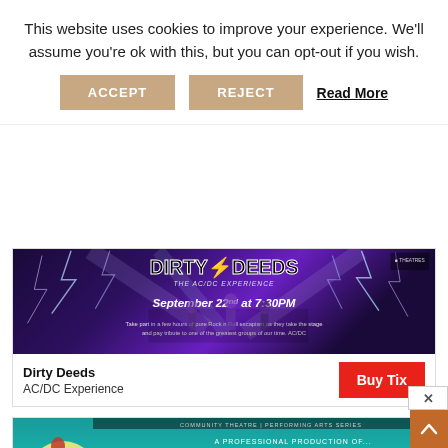This website uses cookies to improve your experience. We'll assume you're ok with this, but you can opt-out if you wish.
ACCEPT | REJECT | Read More
[Figure (photo): Dirty Deeds AC/DC Experience promotional banner with lightning effects, band on stage, text: September 22nd at 7:30PM]
Dirty Deeds
AC/DC Experience
Buy Tix
[Figure (photo): Disney's The Little Mermaid promotional banner with mermaid silhouette against moon, teal background, text: A Professional Production of... The Little Mermaid, September 16 -]